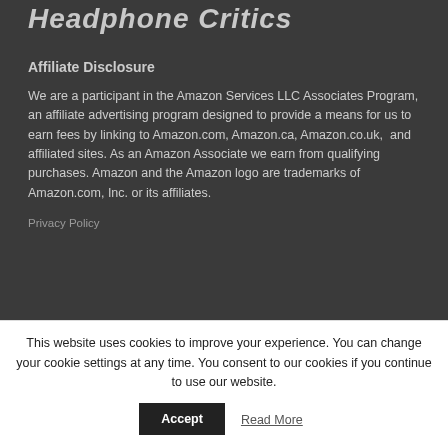Headphone Critics
Affiliate Disclosure
We are a participant in the Amazon Services LLC Associates Program, an affiliate advertising program designed to provide a means for us to earn fees by linking to Amazon.com, Amazon.ca, Amazon.co.uk,  and affiliated sites. As an Amazon Associate we earn from qualifying purchases. Amazon and the Amazon logo are trademarks of Amazon.com, Inc. or its affiliates.
Privacy Policy
This website uses cookies to improve your experience. You can change your cookie settings at any time. You consent to our cookies if you continue to use our website.
Accept
Read More